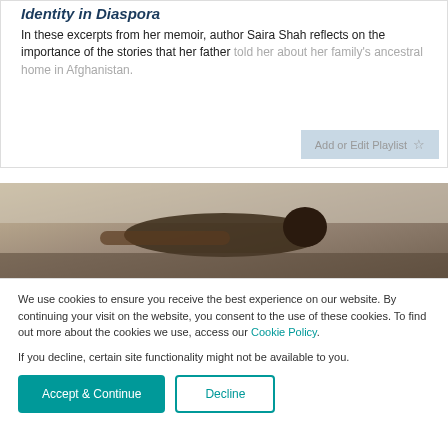Identity in Diaspora
In these excerpts from her memoir, author Saira Shah reflects on the importance of the stories that her father told her about her family's ancestral home in Afghanistan.
[Figure (photo): Person lying face down, viewed from above, in a dimly lit room]
We use cookies to ensure you receive the best experience on our website. By continuing your visit on the website, you consent to the use of these cookies. To find out more about the cookies we use, access our Cookie Policy.
If you decline, certain site functionality might not be available to you.